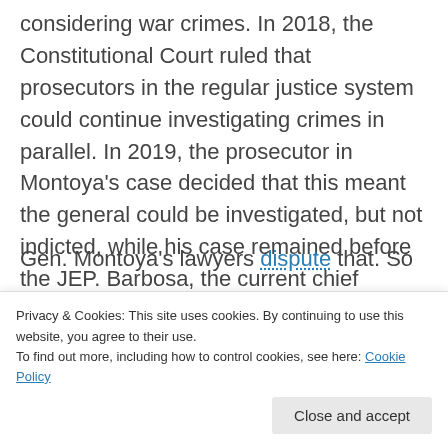considering war crimes. In 2018, the Constitutional Court ruled that prosecutors in the regular justice system could continue investigating crimes in parallel. In 2019, the prosecutor in Montoya's case decided that this meant the general could be investigated, but not indicted, while his case remained before the JEP. Barbosa, the current chief prosecutor, later altered that interpretation, claiming that he had the power to indict Montoya — though the case
Gen. Montoya's lawyers dispute that. So
Privacy & Cookies: This site uses cookies. By continuing to use this website, you agree to their use. To find out more, including how to control cookies, see here: Cookie Policy
Close and accept